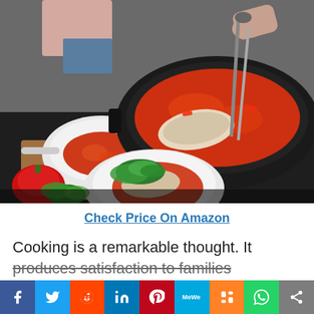[Figure (photo): Person cooking fish in a large black pan on an induction cooktop. A white ceramic skillet with tomato sauce is visible, along with a plated dish of fish with tomato sauce and fresh greens. Red peppers and herbs are in the foreground. Tongs are being used to handle the fish in the main pan.]
Check Price On Amazon
Cooking is a remarkable thought. It produces satisfaction to families
[Figure (infographic): Social media sharing bar with icons for Facebook, Twitter, Reddit, LinkedIn, Pinterest, MeWe, Mix, WhatsApp, and Share]